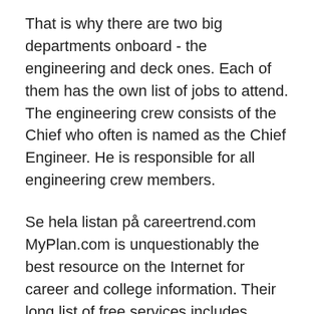That is why there are two big departments onboard - the engineering and deck ones. Each of them has the own list of jobs to attend. The engineering crew consists of the Chief who often is named as the Chief Engineer. He is responsible for all engineering crew members.
Se hela listan på careertrend.com MyPlan.com is unquestionably the best resource on the Internet for career and college information. Their long list of free services includes career profiles, career videos, salary data, college profiles, information on majors and degrees, financial aid advice, and career assessment tests. Basically ocean engineering is the application of engineering principals to control and monitor many things about the ocean environment. So, basically the ocean engineer will